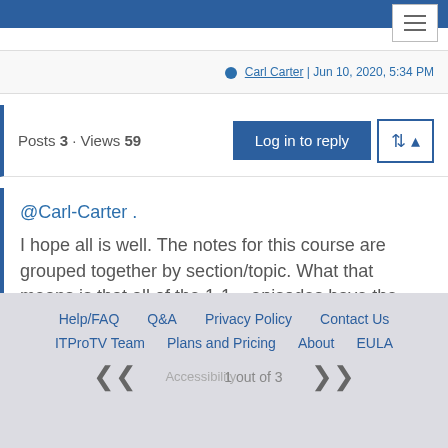Carl Carter | Jun 10, 2020, 5:34 PM
Posts 3 · Views 59
Log in to reply
@Carl-Carter .
I hope all is well. The notes for this course are grouped together by section/topic. What that means is that all of the 1-1... episodes have the same "block" of notes that covers ALL of the information discussed across all of those epi...
Help/FAQ  Q&A  Privacy Policy  Contact Us  ITProTV Team  Plans and Pricing  About  EULA  Accessibility  1 out of 3